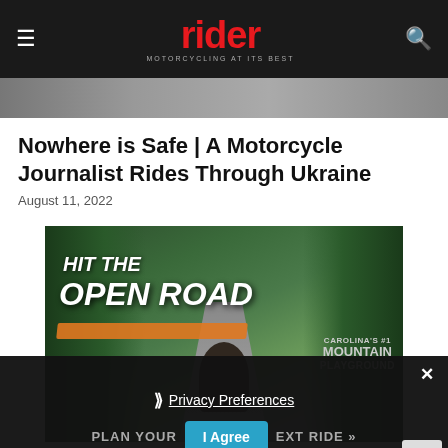rider — MOTORCYCLING AT ITS BEST
[Figure (photo): Partial strip of a motorcycle photo at the top of the article, showing riders/motorcycles.]
Nowhere is Safe | A Motorcycle Journalist Rides Through Ukraine
August 11, 2022
[Figure (photo): Advertisement image: motorcyclist riding on open road through forest with text HIT THE OPEN ROAD and PLAN YOUR NEXT RIDE >>. Overlaid privacy/cookie consent modal with Privacy Preferences link and I Agree button.]